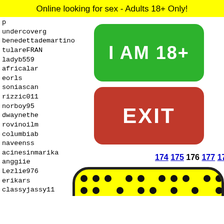Online looking for sex - Adults 18+ Only!
undercoverg
benedettademartino
tulareFRAN
ladyb559
africalar
eorls
soniascan
rizzic011
norboy95
dwaynethe
rovinoilm
columbiab
naveenss
acinesinmarika
anggiie
Lezlie976
erikars
classyjassy11
smialy753
Straig
pocket
vaderb
Sexyeb
juanig
noslen
[Figure (other): Green button labeled I AM 18+]
[Figure (other): Red button labeled EXIT]
174 175 176 177 178
[Figure (illustration): Yellow rounded rectangle with black dot pattern and illustrated character at bottom]